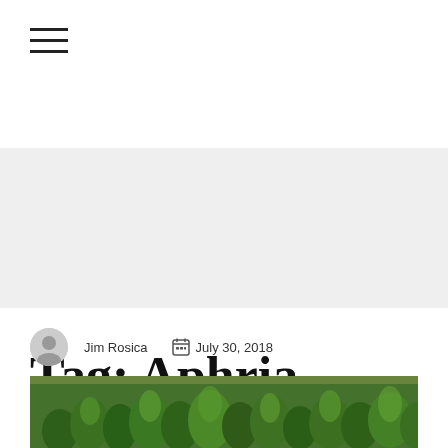☰ (hamburger menu icon)
Tag: Aphria
Jim Rosica   July 30, 2018
[Figure (photo): A large indoor cannabis grow facility with rows of lush green cannabis plants under bright grow lights.]